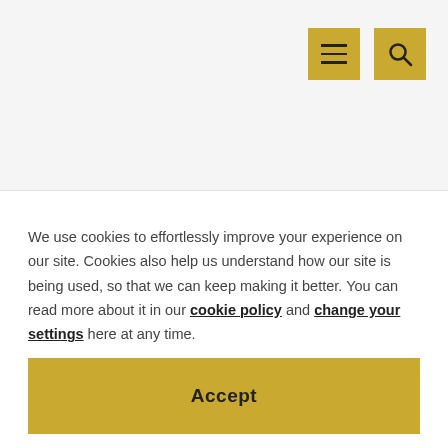[Figure (screenshot): Website header area with light gray background, hamburger menu button and search button, both in gold/yellow color]
We use cookies to effortlessly improve your experience on our site. Cookies also help us understand how our site is being used, so that we can keep making it better. You can read more about it in our cookie policy and change your settings here at any time.
Accept